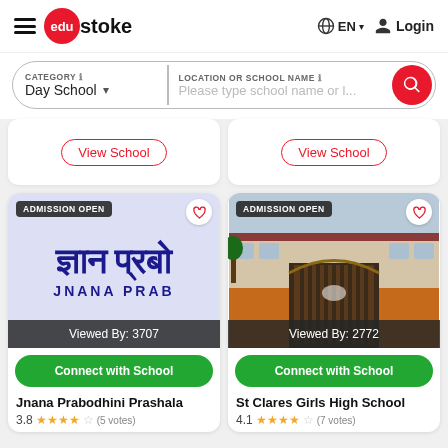edustoke — EN Login
CATEGORY: Day School | LOCATION OR SCHOOL NAME: Please type school name or l...
View School
View School
[Figure (photo): Jnana Prabodhini Prashala school card with Hindi text, ADMISSION OPEN badge, heart icon, Viewed By: 3707 overlay]
[Figure (photo): St Clares Girls High School card with building photo, ADMISSION OPEN badge, heart icon, Viewed By: 2772 overlay]
Connect with School
Connect with School
Jnana Prabodhini Prashala
St Clares Girls High School
3.8 ★★★★☆ (5 votes)
4.1 ★★★★☆ (7 votes)